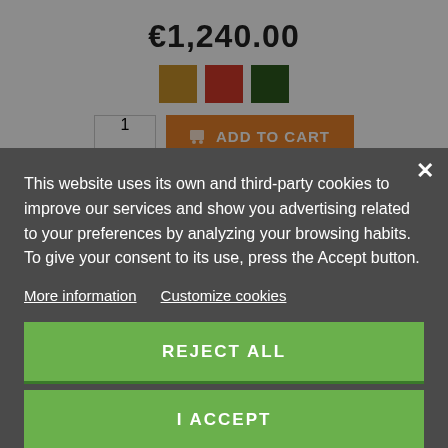€1,240.00
[Figure (screenshot): Three color swatch squares: dark yellow/olive, red, dark green]
[Figure (screenshot): Quantity input and orange ADD TO CART button]
This website uses its own and third-party cookies to improve our services and show you advertising related to your preferences by analyzing your browsing habits. To give your consent to its use, press the Accept button.
More information   Customize cookies
REJECT ALL
I ACCEPT
[Figure (screenshot): Grey circular back-to-top button with upward arrow]
TARRA Hilleberg